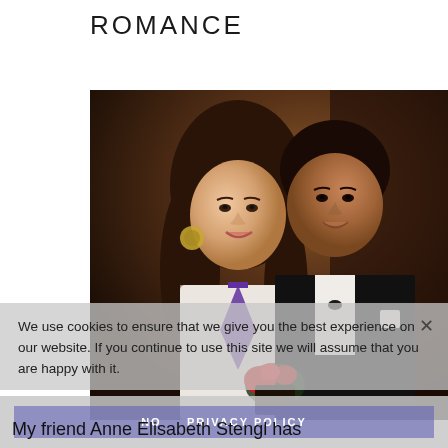ROMANCE
[Figure (photo): Two people posing together at a formal event. A woman with long brown hair wearing a white lace top and purple lanyard/medal, and a man in a black tuxedo with bow tie, smiling. There is a red rose arrangement visible.]
We use cookies to ensure that we give you the best experience on our website. If you continue to use this site we will assume that you are happy with it.
NO    PRIVACY POLICY
My friend Anne Elisabeth Stengl has